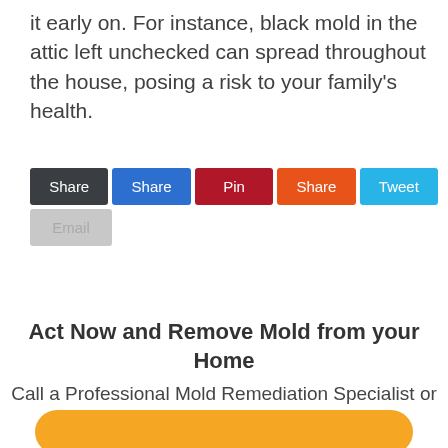it early on. For instance, black mold in the attic left unchecked can spread throughout the house, posing a risk to your family's health.
[Figure (other): Row of social share buttons: Share (dark), Share (blue), Pin (red), Share (orange), Tweet (cyan), and Email (gray) below]
Act Now and Remove Mold from your Home
Call a Professional Mold Remediation Specialist or Get Up to 4 Quotes Now.
[Figure (other): Orange rounded call-to-action button, partially visible at bottom of page]